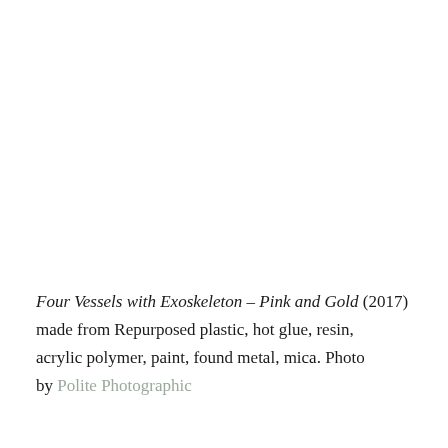Four Vessels with Exoskeleton – Pink and Gold (2017) made from Repurposed plastic, hot glue, resin, acrylic polymer, paint, found metal, mica. Photo by Polite Photographic